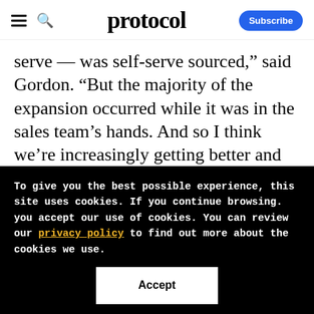protocol
serve — was self-serve sourced,” said Gordon. “But the majority of the expansion occurred while it was in the sales team’s hands. And so I think we’re increasingly getting better and more effective at how to leverage those two together.”
To give you the best possible experience, this site uses cookies. If you continue browsing. you accept our use of cookies. You can review our privacy policy to find out more about the cookies we use.
Accept